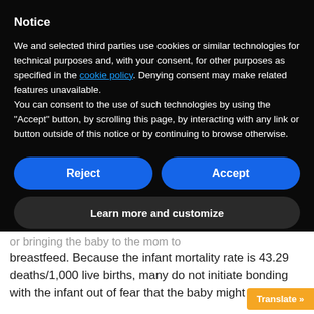Notice
We and selected third parties use cookies or similar technologies for technical purposes and, with your consent, for other purposes as specified in the cookie policy. Denying consent may make related features unavailable.
You can consent to the use of such technologies by using the "Accept" button, by scrolling this page, by interacting with any link or button outside of this notice or by continuing to browse otherwise.
Reject
Accept
Learn more and customize
or bringing the baby to the mom to breastfeed. Because the infant mortality rate is 43.29 deaths/1,000 live births, many do not initiate bonding with the infant out of fear that the baby might die.
Translate »